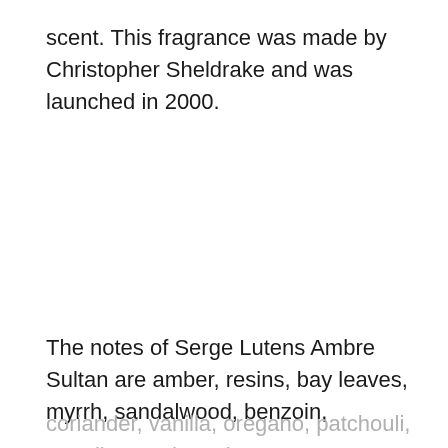scent. This fragrance was made by Christopher Sheldrake and was launched in 2000.
The notes of Serge Lutens Ambre Sultan are amber, resins, bay leaves, myrrh, sandalwood, benzoin,
coriander, vanilla, oregano, patchouli, angelica, and myrtle